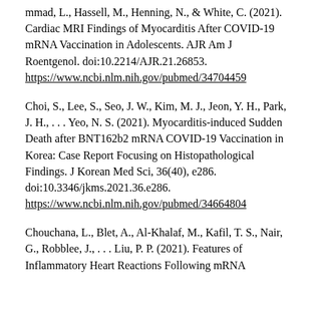…mmad, L., Hassell, M., Henning, N., & White, C. (2021). Cardiac MRI Findings of Myocarditis After COVID-19 mRNA Vaccination in Adolescents. AJR Am J Roentgenol. doi:10.2214/AJR.21.26853. https://www.ncbi.nlm.nih.gov/pubmed/34704459
Choi, S., Lee, S., Seo, J. W., Kim, M. J., Jeon, Y. H., Park, J. H., . . . Yeo, N. S. (2021). Myocarditis-induced Sudden Death after BNT162b2 mRNA COVID-19 Vaccination in Korea: Case Report Focusing on Histopathological Findings. J Korean Med Sci, 36(40), e286. doi:10.3346/jkms.2021.36.e286. https://www.ncbi.nlm.nih.gov/pubmed/34664804
Chouchana, L., Blet, A., Al-Khalaf, M., Kafil, T. S., Nair, G., Robblee, J., . . . Liu, P. P. (2021). Features of Inflammatory Heart Reactions Following mRNA